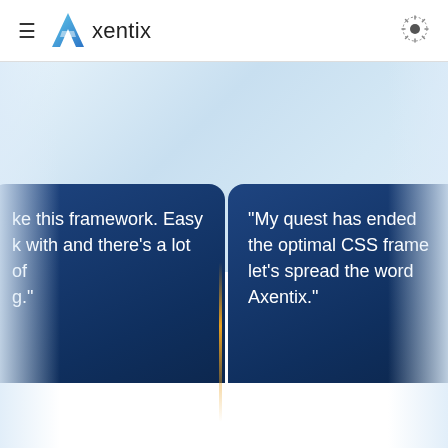Axentix
[Figure (screenshot): Axentix website screenshot showing navigation header with hamburger menu, Axentix logo, and dark mode toggle icon]
like this framework. Easy with and there's a lot of g."
- Evolve Hosting
"My quest has ended the optimal CSS frame let's spread the word Axentix."